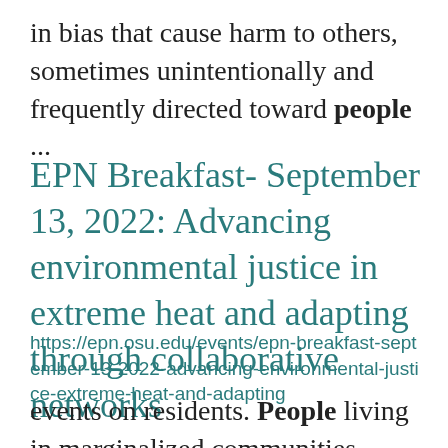in bias that cause harm to others, sometimes unintentionally and frequently directed toward people ...
EPN Breakfast- September 13, 2022: Advancing environmental justice in extreme heat and adapting through collaborative networks
https://epn.osu.edu/events/epn-breakfast-september-13-2022-advancing-environmental-justice-extreme-heat-and-adapting
events on residents. People living in marginalized communities often have less